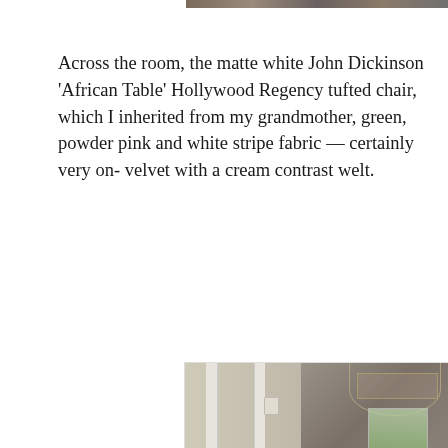[Figure (photo): Partial top edge of a room interior photograph, cropped at the very top of the page]
Across the room, the matte white John Dickinson 'African Table' Hollywood Regency tufted chair, which I inherited from my grandmother, green, powder pink and white stripe fabric — certainly very on- velvet with a cream contrast welt.
[Figure (photo): Interior room photo showing a hallway/entryway with white door trim, taupe/gray walls, a wall sconce, a drum-shade chandelier with metal frame, a window with greenery outside, and a small framed artwork on the wall.]